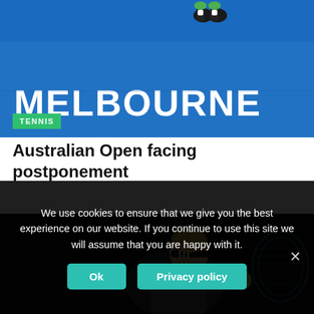[Figure (photo): Melbourne tennis court aerial view with MELBOURNE text on court surface, players' feet visible from above, blue and white colors]
TENNIS
Australian Open facing postponement
[Figure (photo): Tennis player wearing black adidas headband, leaning forward to hit a ball with a racket, dark background]
We use cookies to ensure that we give you the best experience on our website. If you continue to use this site we will assume that you are happy with it.
Ok
Privacy policy